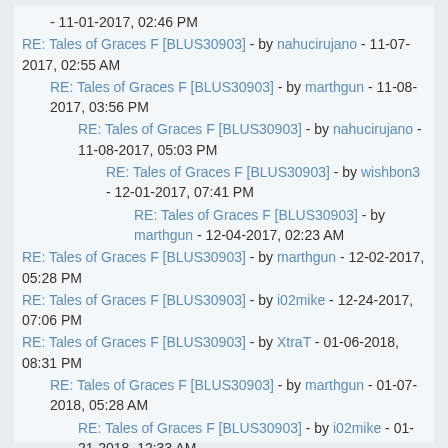- 11-01-2017, 02:46 PM
RE: Tales of Graces F [BLUS30903] - by nahucirujano - 11-07-2017, 02:55 AM
RE: Tales of Graces F [BLUS30903] - by marthgun - 11-08-2017, 03:56 PM
RE: Tales of Graces F [BLUS30903] - by nahucirujano - 11-08-2017, 05:03 PM
RE: Tales of Graces F [BLUS30903] - by wishbon3 - 12-01-2017, 07:41 PM
RE: Tales of Graces F [BLUS30903] - by marthgun - 12-04-2017, 02:23 AM
RE: Tales of Graces F [BLUS30903] - by marthgun - 12-02-2017, 05:28 PM
RE: Tales of Graces F [BLUS30903] - by i02mike - 12-24-2017, 07:06 PM
RE: Tales of Graces F [BLUS30903] - by XtraT - 01-06-2018, 08:31 PM
RE: Tales of Graces F [BLUS30903] - by marthgun - 01-07-2018, 05:28 AM
RE: Tales of Graces F [BLUS30903] - by i02mike - 01-21-2018, 12:33 AM
RE: Tales of Graces F [BLUS30903] - by XtraT - 01-